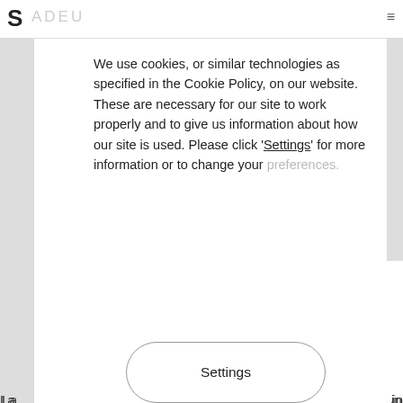S [faded header text] ≡
We use cookies, or similar technologies as specified in the Cookie Policy, on our website. These are necessary for our site to work properly and to give us information about how our site is used. Please click 'Settings' for more information or to change your [truncated]
Settings
I accept
La... lea... thi... cre... co... un... un... op... us... wa... or...
in... t... l...
Close ×
———